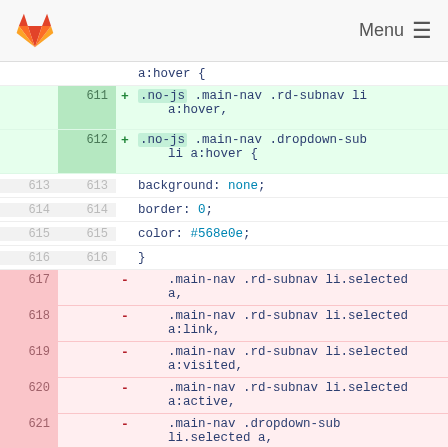[Figure (screenshot): GitLab navigation bar with logo and Menu hamburger icon]
a:hover { (partial, truncated at top)
611 + .no-js .main-nav .rd-subnav li a:hover,
612 + .no-js .main-nav .dropdown-sub li a:hover {
613 613     background: none;
614 614     border: 0;
615 615     color: #568e0e;
616 616     }
617   - .main-nav .rd-subnav li.selected a,
618   - .main-nav .rd-subnav li.selected a:link,
619   - .main-nav .rd-subnav li.selected a:visited,
620   - .main-nav .rd-subnav li.selected a:active,
621   - .main-nav .dropdown-sub li.selected a,
622   - .main-nav .dropdown-sub li.selected a:link,